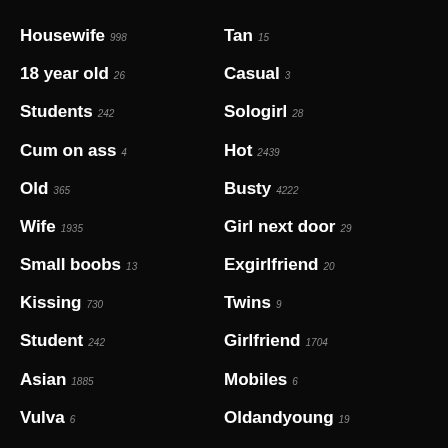Housewife 998
Tan 15
18 year old 26
Casual 3
Students 242
Sologirl 28
Cum on ass 4
Hot 2439
Old 365
Busty 4222
Wife 1935
Girl next door 29
Small boobs 13
Exgirlfriend 20
Kissing 730
Twins 9
Student 242
Girlfriend 1704
Asian 1885
Mobiles 6
Vulva 6
Oldandyoung 19